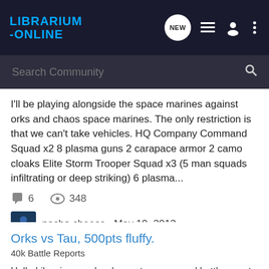[Figure (screenshot): Librarium Online website navigation bar with logo, NEW chat bubble icon, list icon, user icon, and three-dot menu icon on dark background]
[Figure (screenshot): Search Community search bar on dark background with magnifying glass icon]
I'll be playing alongside the space marines against orks and chaos space marines. The only restriction is that we can't take vehicles. HQ Company Command Squad x2 8 plasma guns 2 carapace armor 2 camo cloaks Elite Storm Trooper Squad x3 (5 man squads infiltrating or deep striking) 6 plasma...
6 comments · 348 views
nacho cheese · May 10, 2012
2500  imperial  marines  orks
Orks vs Tau, 500pts fluffy.
40k Battle Reports
Hello Librarium, and welcome to my second battle report :)